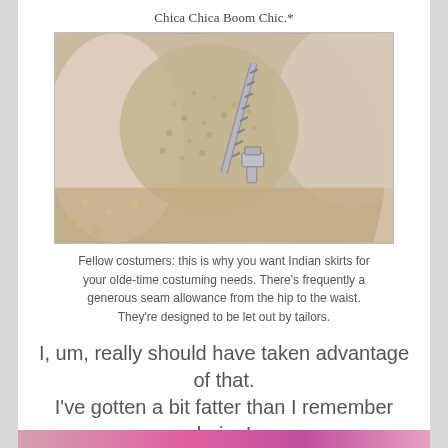Chica Chica Boom Chic.*
[Figure (photo): Close-up photo of a garment showing a zipper and seam allowance area of an Indian skirt, with lace or mesh fabric detail visible]
Fellow costumers: this is why you want Indian skirts for your olde-time costuming needs. There's frequently a generous seam allowance from the hip to the waist. They're designed to be let out by tailors.
I, um, really should have taken advantage of that. I've gotten a bit fatter than I remember being!